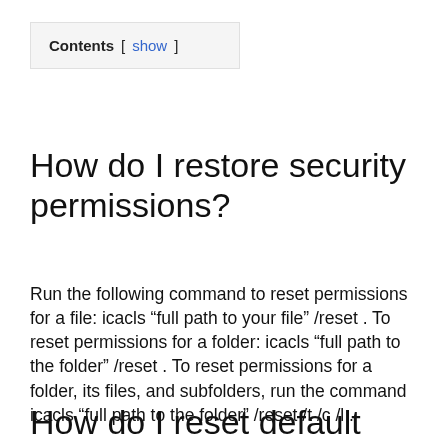Contents [ show ]
How do I restore security permissions?
Run the following command to reset permissions for a file: icacls “full path to your file” /reset . To reset permissions for a folder: icacls “full path to the folder” /reset . To reset permissions for a folder, its files, and subfolders, run the command icacls “full path to the folder” /reset /t /c /l .
How do I reset default